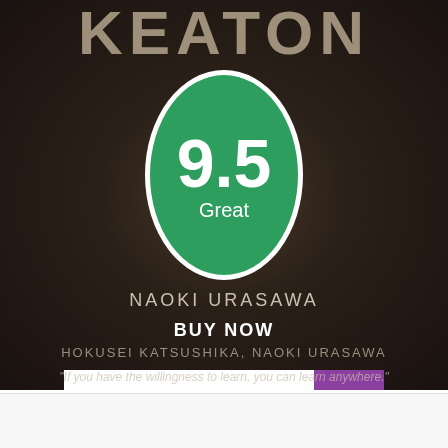[Figure (illustration): Book cover background for KEATON manga by Naoki Urasawa, dark brownish tones with illustrated scene]
KEATON
[Figure (infographic): Oval green score badge showing 9.5 Great rating with white border]
NAOKI URASAWA
BUY NOW
HOKUSEI KATSUSHIKA, NAOKI URASAWA
COMIXOLOGY/AMAZON
"If you have the willingness to learn, you can learn anywhere."